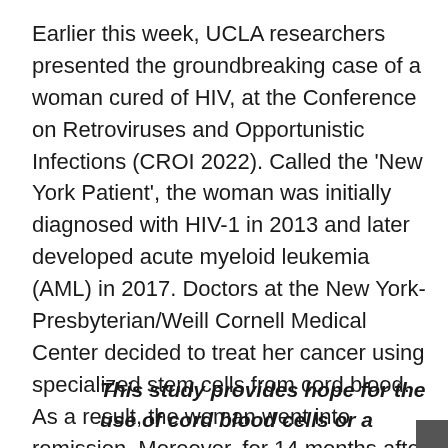Earlier this week, UCLA researchers presented the groundbreaking case of a woman cured of HIV, at the Conference on Retroviruses and Opportunistic Infections (CROI 2022). Called the 'New York Patient', the woman was initially diagnosed with HIV-1 in 2013 and later developed acute myeloid leukemia (AML) in 2017. Doctors at the New York-Presbyterian/Weill Cornell Medical Center decided to treat her cancer using specialized stem cells from cord blood. As a result, the woman went into remission. Moreover, for 14 months after discontinuing antivirals, she continued to test negative for the virus. Thus, becoming only the third person in the world and the first woman cured of HIV.
This study provides hope for the use of cord blood cells or a